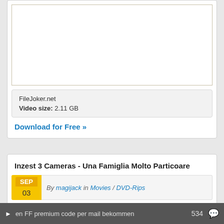[Figure (screenshot): Empty white video/image placeholder box with tan/beige border]
FileJoker.net
Video size: 2.11 GB
Download for Free »
Inzest 3 Cameras - Una Famiglia Molto Particolare
By magijack in Movies / DVD-Rips
en FF premium code per mail bekommen  534